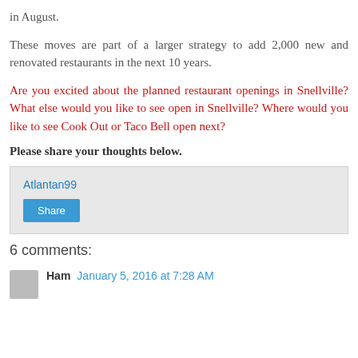in August.
These moves are part of a larger strategy to add 2,000 new and renovated restaurants in the next 10 years.
Are you excited about the planned restaurant openings in Snellville? What else would you like to see open in Snellville? Where would you like to see Cook Out or Taco Bell open next?
Please share your thoughts below.
Atlantan99
Share
6 comments:
Ham  January 5, 2016 at 7:28 AM